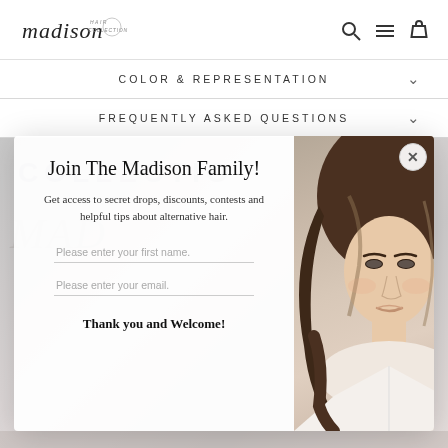madison collection [logo] [search icon] [menu icon] [cart icon]
COLOR & REPRESENTATION
FREQUENTLY ASKED QUESTIONS
[Figure (screenshot): Popup modal overlay on a e-commerce website for Madison Collection hair products. Left side shows form with title 'Join The Madison Family!', body text about getting access to secret drops, discounts, contests and helpful tips about alternative hair, two input fields (first name and email), and 'Thank you and Welcome!' text. Right side shows a woman with long wavy brunette hair. An X close button is in the top right corner.]
Join The Madison Family!
Get access to secret drops, discounts, contests and helpful tips about alternative hair.
Please enter your first name.
Please enter your email.
Thank you and Welcome!